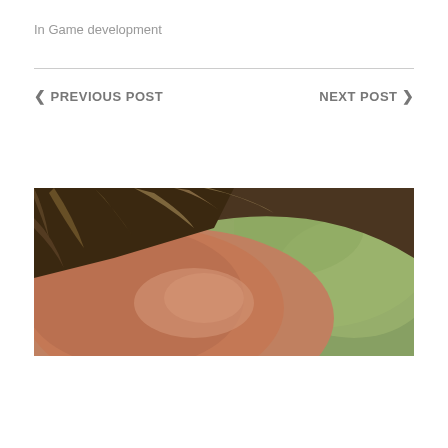In Game development
◄ PREVIOUS POST      NEXT POST ►
[Figure (photo): Close-up photo of a person's forehead and hair, with a blurred green background. The person has blonde/light brown hair.]